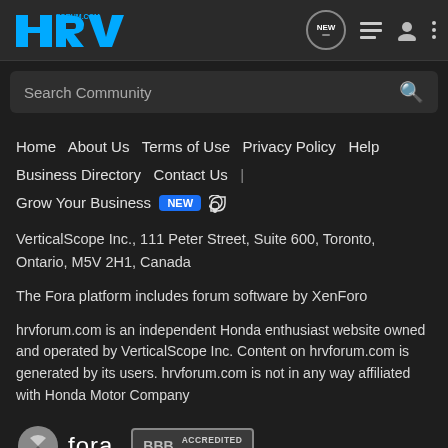HRV Forum.com header with logo and navigation icons
Search Community
Home   About Us   Terms of Use   Privacy Policy   Help   Business Directory   Contact Us   |   Grow Your Business  NEW  (RSS)
VerticalScope Inc., 111 Peter Street, Suite 600, Toronto, Ontario, M5V 2H1, Canada
The Fora platform includes forum software by XenForo
hrvforum.com is an independent Honda enthusiast website owned and operated by VerticalScope Inc. Content on hrvforum.com is generated by its users. hrvforum.com is not in any way affiliated with Honda Motor Company
[Figure (logo): Fora platform logo and BBB Accredited Business badge]